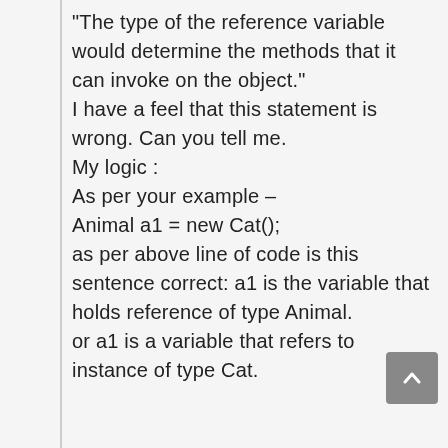"The type of the reference variable would determine the methods that it can invoke on the object." I have a feel that this statement is wrong. Can you tell me. My logic : As per your example – Animal a1 = new Cat(); as per above line of code is this sentence correct: a1 is the variable that holds reference of type Animal. or a1 is a variable that refers to instance of type Cat.